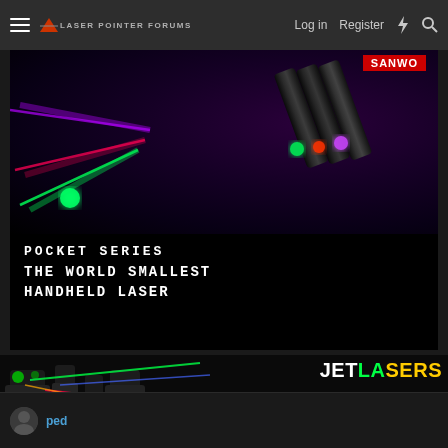Laser Pointer Forums  Log in  Register
[Figure (photo): SANWO Pocket Series laser pointer advertisement showing three black laser pen cylinders emitting purple, red, and green laser beams against a dark background. Text reads: POCKET SERIES - THE WORLD SMALLEST HANDHELD LASER]
[Figure (photo): JetLasers banner advertisement with laser beams in green, red, blue colors and text: JETLASERS 5% Off Coupon: SPECIALDEAL]
Mar 26, 2013
ped